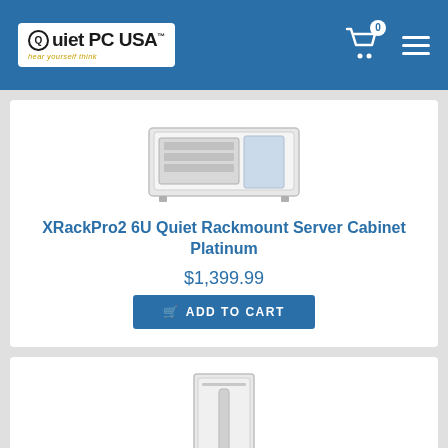Quiet PC USA — hear yourself think | Cart (0) | Menu
[Figure (photo): XRackPro2 6U Quiet Rackmount Server Cabinet Platinum — horizontal rack cabinet in light gray/white color]
XRackPro2 6U Quiet Rackmount Server Cabinet Platinum
$1,399.99
ADD TO CART
[Figure (photo): AcoustiQuiet V2 Quiet Rackmount Cabinet — tall vertical server rack in light gray/white color]
AcoustiQuiet V2 Quiet Rackmount Cabinet - 36inch